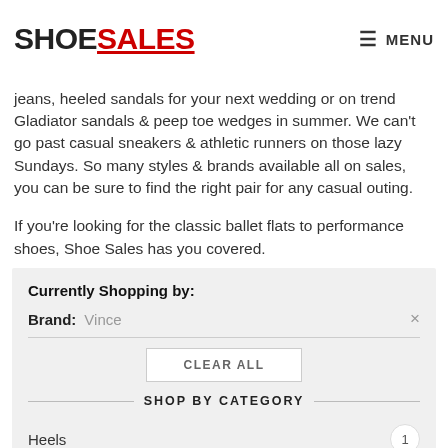SHOESALES | MENU
jeans, heeled sandals for your next wedding or on trend Gladiator sandals & peep toe wedges in summer. We can't go past casual sneakers & athletic runners on those lazy Sundays. So many styles & brands available all on sales, you can be sure to find the right pair for any casual outing.
If you're looking for the classic ballet flats to performance shoes, Shoe Sales has you covered.
Currently Shopping by:
Brand: Vince
SHOP BY CATEGORY
Heels 1